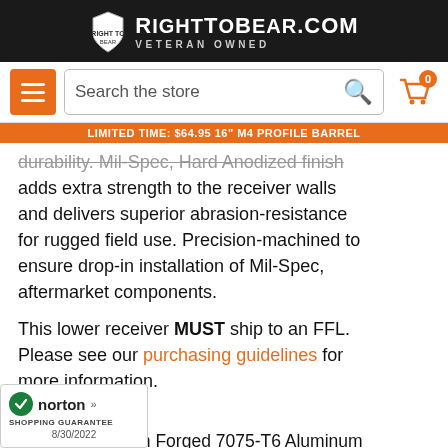RightToBear.com — VETERAN OWNED
[Figure (screenshot): Navigation bar with hamburger menu (orange), search box 'Search the store', and cart icon with badge showing 0]
LIMITED TIME: $64.95 16" M4 PROFILE BARREL
durability. Mil-Spec, Hard Anodized finish adds extra strength to the receiver walls and delivers superior abrasion-resistance for rugged field use. Precision-machined to ensure drop-in installation of Mil-Spec, aftermarket components.
This lower receiver MUST ship to an FFL. Please see our purchasing guidelines for more information.
Features:
Machined From Forged 7075-T6 Aluminum
MULTI CAL Marked
[Figure (logo): Norton Shopping Guarantee badge with green checkmark, dated 8/30/2022]